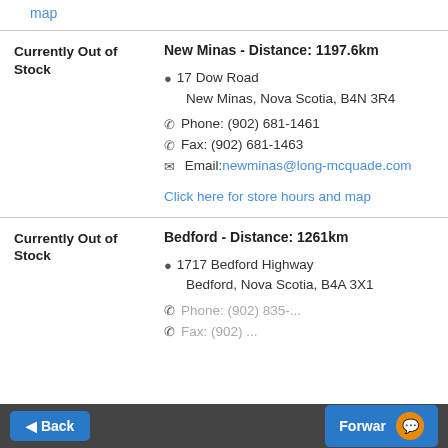map
Currently Out of Stock
New Minas - Distance: 1197.6km
17 Dow Road
New Minas, Nova Scotia, B4N 3R4
Phone: (902) 681-1461
Fax: (902) 681-1463
Email: newminas@long-mcquade.com
Click here for store hours and map
Currently Out of Stock
Bedford - Distance: 1261km
1717 Bedford Highway
Bedford, Nova Scotia, B4A 3X1
Phone: ...
Back
Forward